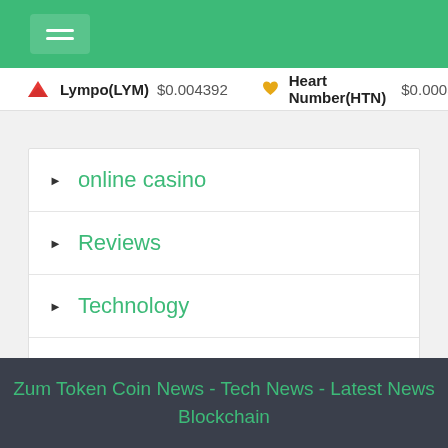Lympo(LYM) $0.004392   Heart Number(HTN) $0.000553
online casino
Reviews
Technology
казино
Zum Token Coin News - Tech News - Latest News Blockchain